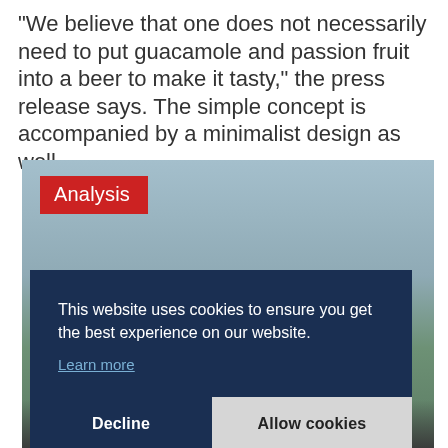"We believe that one does not necessarily need to put guacamole and passion fruit into a beer to make it tasty," the press release says. The simple concept is accompanied by a minimalist design as well.
[Figure (screenshot): Outdoor scene with sky and trees, overlaid with a red 'Analysis' badge label in the upper left, and a cookie consent banner in the lower portion]
This website uses cookies to ensure you get the best experience on our website.
Learn more
Decline    Allow cookies